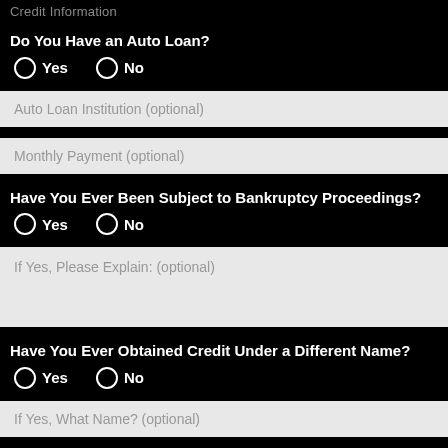Credit Information
Do You Have an Auto Loan?
Yes   No
Auto Loan Institution (optional)
Monthly Payment (optional)
Have You Ever Been Subject to Bankruptcy Proceedings?
Yes   No
If Yes, Please Explain: (optional)
Have You Ever Obtained Credit Under a Different Name?
Yes   No
If Yes, What Name? (optional)